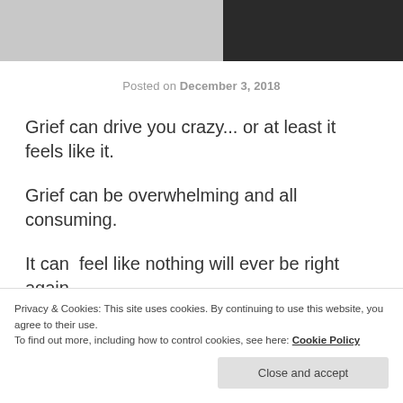[Figure (photo): Partial grayscale photo of a person, cropped at top of page, showing dark hair against light background]
Posted on December 3, 2018
Grief can drive you crazy... or at least it feels like it.
Grief can be overwhelming and all consuming.
It can  feel like nothing will ever be right again.
When we deal with acute loss, something incomprehensible to us... the first reaction is to deny...
Privacy & Cookies: This site uses cookies. By continuing to use this website, you agree to their use.
To find out more, including how to control cookies, see here: Cookie Policy